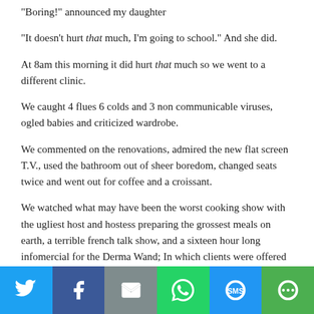“Boring!” announced my daughter
“It doesn’t hurt that much, I’m going to school.” And she did.
At 8am this morning it did hurt that much so we went to a different clinic.
We caught 4 flues 6 colds and 3 non communicable viruses, ogled babies and criticized wardrobe.
We commented on the renovations, admired the new flat screen T.V., used the bathroom out of sheer boredom, changed seats twice and went out for coffee and a croissant.
We watched what may have been the worst cooking show with the ugliest host and hostess preparing the grossest meals on earth, a terrible french talk show, and a sixteen hour long infomercial for the Derma Wand; In which clients were offered the choice between the wand or $1000.00.
They all (of course) chose the wand. This is intended to prove how awesome the product is but sadly only proves how stupid some consumers are, as the
[Figure (infographic): Social sharing bar with six buttons: Twitter (blue), Facebook (dark blue), Email (gray), WhatsApp (green), SMS (blue), More (green). Each button shows a white icon.]